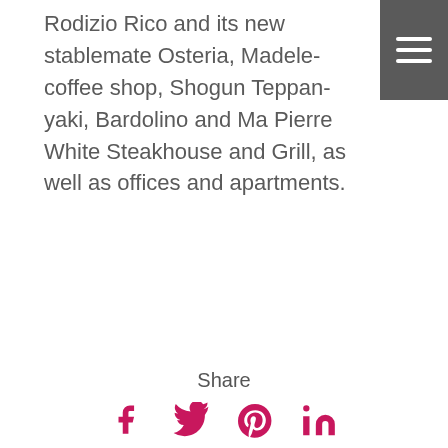Rodizio Rico and its new stablemate Osteria, Madeleine coffee shop, Shogun Teppan-yaki, Bardolino and Marco Pierre White Steakhouse and Grill, as well as offices and apartments.
Share
[Figure (other): Social share icons: Facebook, Twitter, Pinterest, LinkedIn in pink/magenta color]